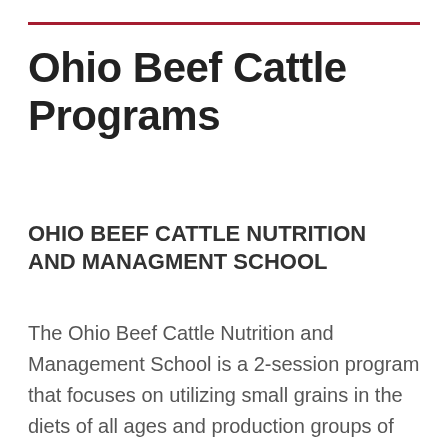Ohio Beef Cattle Programs
OHIO BEEF CATTLE NUTRITION AND MANAGMENT SCHOOL
The Ohio Beef Cattle Nutrition and Management School is a 2-session program that focuses on utilizing small grains in the diets of all ages and production groups of beef cattle, utilizing alternative forages, and managing your